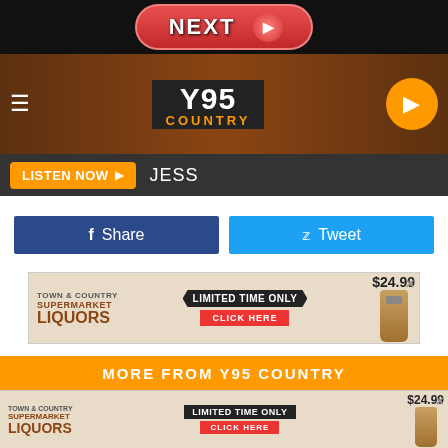[Figure (screenshot): Black top bar with a red rounded NEXT button with arrow]
[Figure (screenshot): Y95 Country radio station header banner with wood background, hamburger menu, Y95 COUNTRY logo, and orange play button]
[Figure (screenshot): LISTEN NOW button in orange with JESS text on dark bar]
[Figure (screenshot): Facebook Share button (dark blue) and Twitter Tweet button (cyan)]
[Figure (screenshot): Supermarket Liquors advertisement banner: LIMITED TIME ONLY, CLICK HERE, $24.99]
[Figure (screenshot): MORE FROM Y95 COUNTRY orange section header]
[Figure (screenshot): Two thumbnail images: NASA tardigrade image and a forest image]
[Figure (screenshot): Bottom Supermarket Liquors advertisement: LIMITED TIME ONLY, CLICK HERE, $24.99]